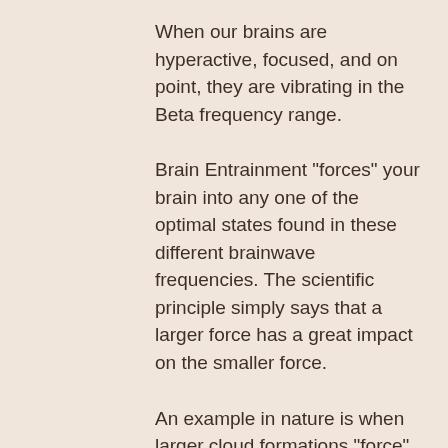When our brains are hyperactive, focused, and on point, they are vibrating in the Beta frequency range.
Brain Entrainment "forces" your brain into any one of the optimal states found in these different brainwave frequencies. The scientific principle simply says that a larger force has a great impact on the smaller force.
An example in nature is when larger cloud formations "force" smaller systems to spin at the same speed and direction.
We achieve this in your brain using specially formulated sound frequencies, "brainwave...